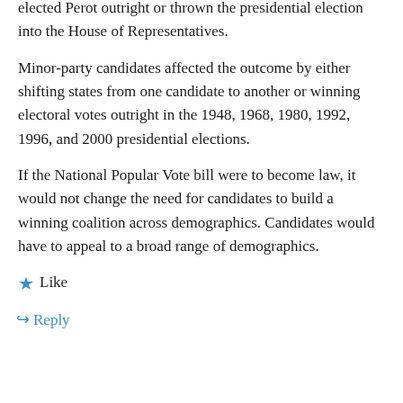elected Perot outright or thrown the presidential election into the House of Representatives.
Minor-party candidates affected the outcome by either shifting states from one candidate to another or winning electoral votes outright in the 1948, 1968, 1980, 1992, 1996, and 2000 presidential elections.
If the National Popular Vote bill were to become law, it would not change the need for candidates to build a winning coalition across demographics. Candidates would have to appeal to a broad range of demographics.
★ Like
↪ Reply